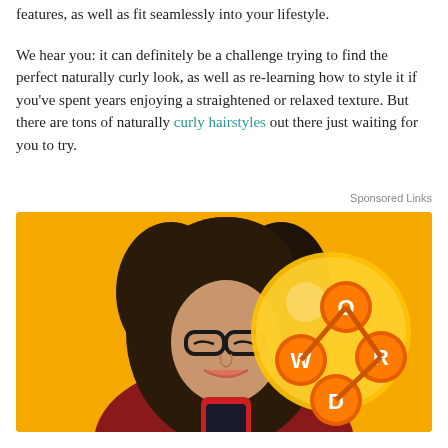features, as well as fit seamlessly into your lifestyle.
We hear you: it can definitely be a challenge trying to find the perfect naturally curly look, as well as re-learning how to style it if you've spent years enjoying a straightened or relaxed texture. But there are tons of naturally curly hairstyles out there just waiting for you to try.
Sponsored Links
[Figure (photo): Advertisement image showing a young woman with long curly dark hair and glasses, smiling and looking at her phone against a yellow/orange background. A word game logo with letters W, O, R, D is shown on golden bubble graphics to the right.]